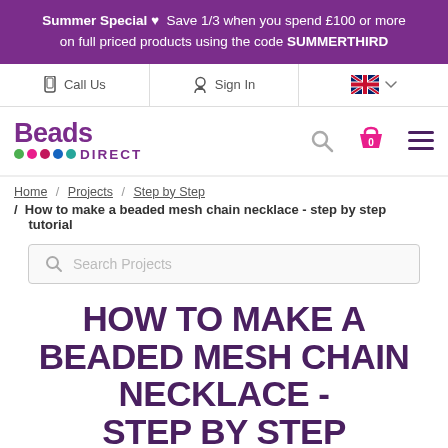Summer Special ♥ Save 1/3 when you spend £100 or more on full priced products using the code SUMMERTHIRD
Call Us | Sign In | UK flag
[Figure (logo): Beads Direct logo with coloured dots and navigation icons (search, basket, menu)]
Home / Projects / Step by Step / How to make a beaded mesh chain necklace - step by step tutorial
Search Projects
HOW TO MAKE A BEADED MESH CHAIN NECKLACE - STEP BY STEP TUTORIAL